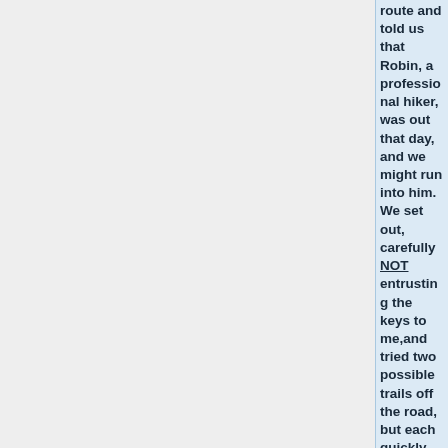route and told us that Robin, a professional hiker, was out that day, and we might run into him.  We set out, carefully NOT entrusting the keys to me,and tried two possible trails off the road, but each quickly led to a dead end.  We decided that following th road must be the correct path, and set off again. Reaching the